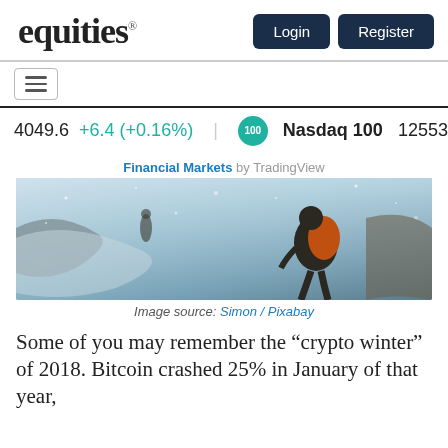equities
[Figure (screenshot): Equities website header with Login and Register buttons]
[Figure (infographic): Stock ticker bar showing 4049.6 +6.4 (+0.16%) and Nasdaq 100 12553.0 +4.4]
Financial Markets by TradingView
[Figure (photo): A person in winter gear with an orange backpack hiking through a blizzard or snowstorm]
Image source: Simon / Pixabay
Some of you may remember the “crypto winter” of 2018. Bitcoin crashed 25% in January of that year,